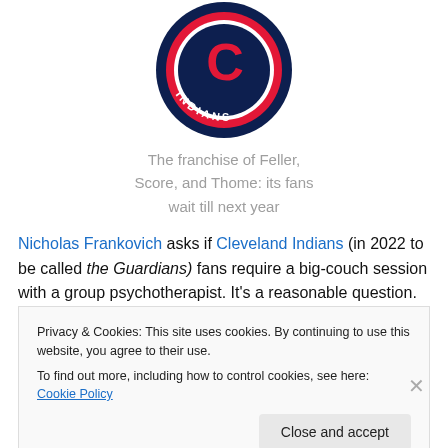[Figure (logo): Cleveland Indians circular team logo with navy blue background, red ring, and white 'C' letter with 'INDIANS' text at bottom]
The franchise of Feller, Score, and Thome: its fans wait till next year
Nicholas Frankovich asks if Cleveland Indians (in 2022 to be called the Guardians) fans require a big-couch session with a group psychotherapist. It's a reasonable question.
Privacy & Cookies: This site uses cookies. By continuing to use this website, you agree to their use.
To find out more, including how to control cookies, see here: Cookie Policy